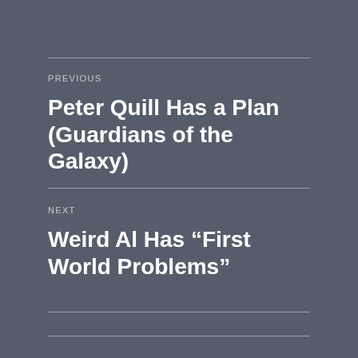PREVIOUS
Peter Quill Has a Plan (Guardians of the Galaxy)
NEXT
Weird Al Has “First World Problems”